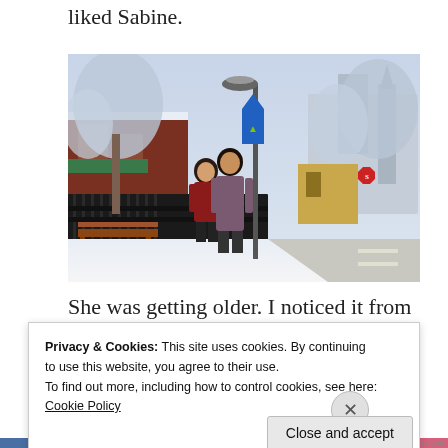liked Sabine.
[Figure (screenshot): Screenshot from The Sims 3 game showing two Sim characters standing on a snowy sidewalk next to a streetlamp with a Sims logo banner, with snow-covered trees, iron fencing, benches, and a road visible in a winter town setting.]
She was getting older. I noticed it from the way her
Privacy & Cookies: This site uses cookies. By continuing to use this website, you agree to their use.
To find out more, including how to control cookies, see here: Cookie Policy
Close and accept